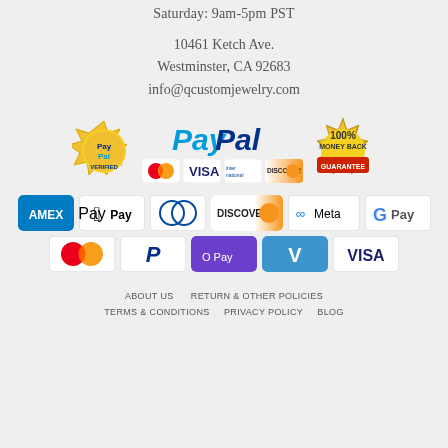Saturday: 9am-5pm PST
10461 Ketch Ave.
Westminster, CA 92683
info@qcustomjewelry.com
[Figure (logo): PayPal Verified seal, PayPal logo with credit card icons (MasterCard, VISA, International, Discover), and 100% Money Back Guarantee seal]
[Figure (logo): Payment method icons: AMEX, Apple Pay, Diners Club, Discover, Meta Pay, Google Pay, Mastercard, PayPal, OPay, Venmo, VISA]
ABOUT US    RETURN & OTHER POLICIES
TERMS & CONDITIONS    PRIVACY POLICY    BLOG